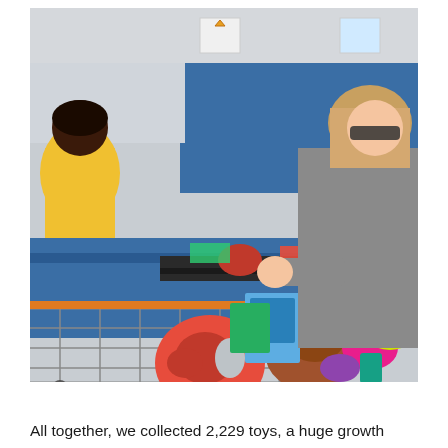[Figure (photo): A woman in a gray t-shirt standing at a Walmart checkout counter with a shopping cart overflowing with toys including balls, water guns, and various children's toys. A Walmart employee in a yellow vest is visible in the background at the checkout lane.]
All together, we collected 2,229 toys, a huge growth